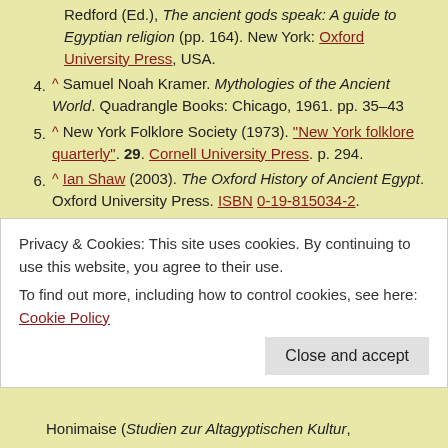Redford (Ed.), The ancient gods speak: A guide to Egyptian religion (pp. 164). New York: Oxford University Press, USA.
4. ^ Samuel Noah Kramer. Mythologies of the Ancient World. Quadrangle Books: Chicago, 1961. pp. 35–43
5. ^ New York Folklore Society (1973). "New York folklore quarterly". 29. Cornell University Press. p. 294.
6. ^ Ian Shaw (2003). The Oxford History of Ancient Egypt. Oxford University Press. ISBN 0-19-815034-2.
7. ^ Piotr O. Scholz (2001). Eunuchs and castrati:
Privacy & Cookies: This site uses cookies. By continuing to use this website, you agree to their use. To find out more, including how to control cookies, see here: Cookie Policy
Honimaise (Studien zur Altagyptischen Kultur,